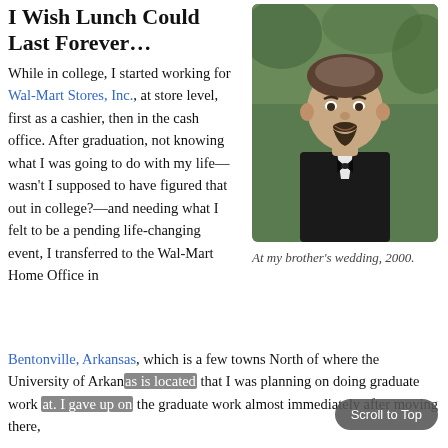I Wish Lunch Could Last Forever…
[Figure (photo): Portrait photo of a man in a tuxedo/formal attire with a goatee, taken at a wedding in 2000, outdoors with greenery in background]
At my brother's wedding, 2000.
While in college, I started working for Wal-Mart Stores, Inc., at store level, first as a cashier, then in the cash office. After graduation, not knowing what I was going to do with my life—wasn't I supposed to have figured that out in college?—and needing what I felt to be a pending life-changing event, I transferred to the Wal-Mart Home Office in Bentonville, Arkansas, which is a few towns North of where the University of Arkansas is located that I was planning on doing graduate work at. I gave up on the graduate work almost immediately after moving there,